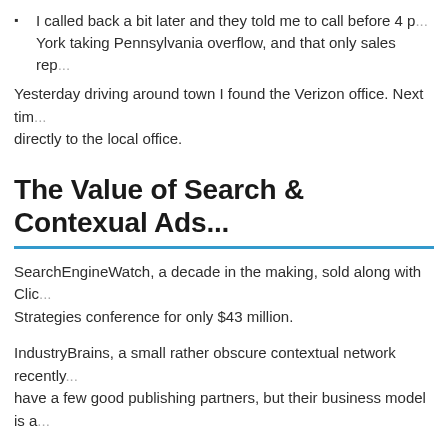I called back a bit later and they told me to call before 4 p[m] York taking Pennsylvania overflow, and that only sales rep[resentatives]
Yesterday driving around town I found the Verizon office. Next tim[e I will go] directly to the local office.
The Value of Search & Contexual Ads...
SearchEngineWatch, a decade in the making, sold along with Clic[kZ and the Search] Strategies conference for only $43 million.
IndustryBrains, a small rather obscure contextual network recently[...] have a few good publishing partners, but their business model is a[...]
Many advertising companies depend on large off the web media o[...] selling online media. As time passes and consolidation continues [...] on market ineffiencies will watch their business models erode.
I find it mind boggling that IndustryBrains sold for about the same [...]